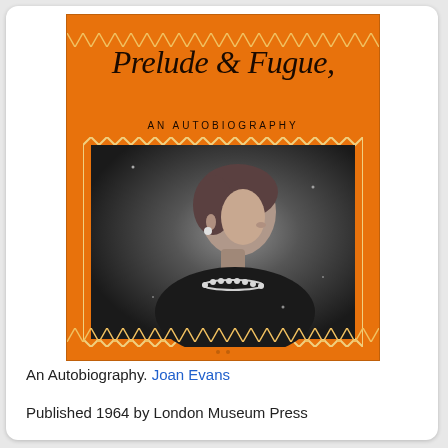[Figure (photo): Book cover of 'Prelude & Fugue, An Autobiography' by Joan Evans. Orange cover with script title at top, subtitle 'AN AUTOBIOGRAPHY' in small caps, and a black-and-white photographic portrait of a woman in side profile wearing pearls, set within a decorative zigzag border frame.]
An Autobiography. Joan Evans
Published 1964 by London Museum Press